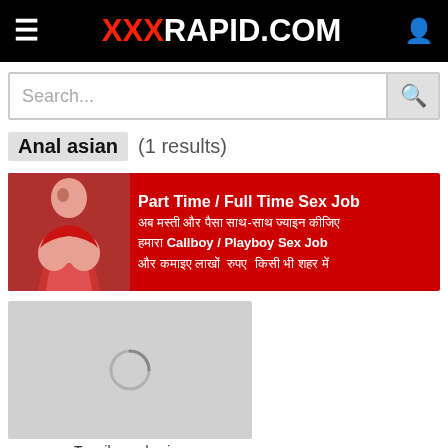XXXRAPID.COM
Search...
Anal asian (1 results)
[Figure (infographic): Advertisement banner with red background showing Part Time / Full Time Sex Job text in Hindi and English, with a woman image on the left side.]
[Figure (photo): Loading thumbnail placeholder (grey box with spinner) for Tequila anal asian video]
Tequila anal asian